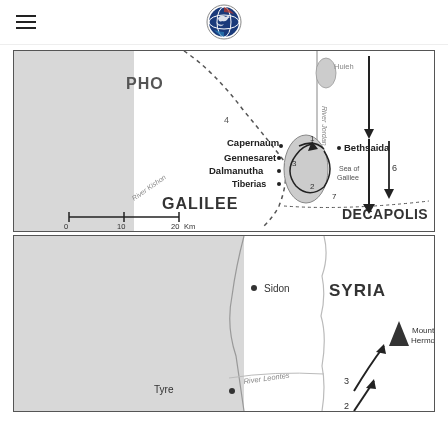Navigation header with hamburger menu and logo
[Figure (map): Map of Galilee and Decapolis region showing locations: PHO(enicia), Huieh, River Jordan, Capernaum, Bethsaida, Gennesaret, Dalmanutha, Tiberias, Sea of Galilee, GALILEE, DECAPOLIS, River Kishon, with numbered route arrows (1-7) and scale bar (0-10-20 Km)]
[Figure (map): Map of Syria, Phoenicia region showing locations: Sidon, Tyre, River Leontes, SYRIA, Mount Hermon (with triangle symbol), numbered route arrows (2,3)]